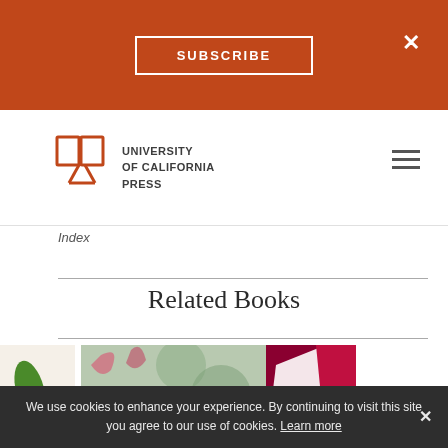SUBSCRIBE  ×
[Figure (logo): University of California Press logo with orange open book icon and text]
Index
Related Books
[Figure (photo): Three book cover thumbnails: left partial (map with green NZ outline), center (Italy's Native Wine Grapes with decorative botanical pattern), right partial (dark red/maroon cover)]
We use cookies to enhance your experience. By continuing to visit this site you agree to our use of cookies. Learn more ×